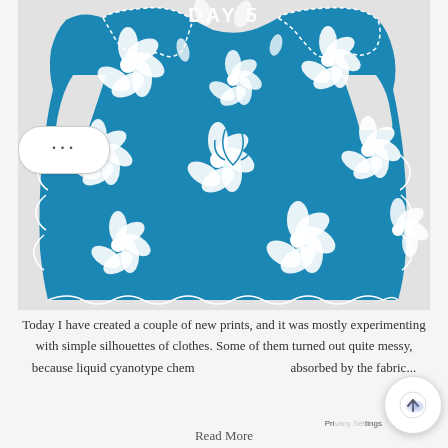[Figure (photo): A tank top printed with cyanotype process showing white flower silhouettes on a vivid blue background, laid flat on a light grey surface. The top has ruffled/scalloped edges on the straps and sides.]
Today I have created a couple of new prints, and it was mostly experimenting with simple silhouettes of clothes. Some of them turned out quite messy, because liquid cyanotype chem... absorbed by the fabric...
Read More